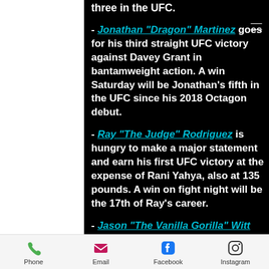three in the UFC.
- Jonathan "Dragon" Martinez goes for his third straight UFC victory against Davey Grant in bantamweight action. A win Saturday will be Jonathan's fifth in the UFC since his 2018 Octagon debut.
- Ray "The Judge" Rodriguez is hungry to make a major statement and earn his first UFC victory at the expense of Rani Yahya, also at 135 pounds. A win on fight night will be the 17th of Ray's career.
- Jason "The Vanilla Gorilla" Witt
Phone  Email  Facebook  Instagram